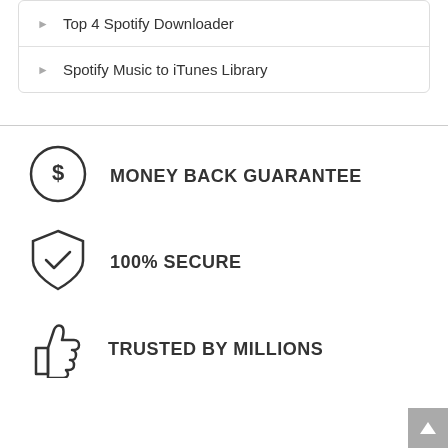Top 4 Spotify Downloader
Spotify Music to iTunes Library
[Figure (infographic): Money back guarantee icon with dollar sign in circle, 100% Secure icon with shield and checkmark, Trusted by Millions icon with thumbs up]
Scroll to top button